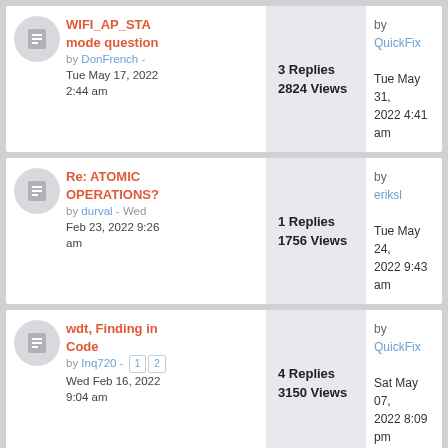WIFI_AP_STA mode question by DonFrench - Tue May 17, 2022 2:44 am | 3 Replies 2824 Views | by QuickFix Tue May 31, 2022 4:41 am
Re: ATOMIC OPERATIONS? by durval - Wed Feb 23, 2022 9:26 am | 1 Replies 1756 Views | by eriksl Tue May 24, 2022 9:43 am
wdt, Finding in Code by Inq720 - [1][2] Wed Feb 16, 2022 9:04 am | 4 Replies 3150 Views | by QuickFix Sat May 07, 2022 8:09 pm